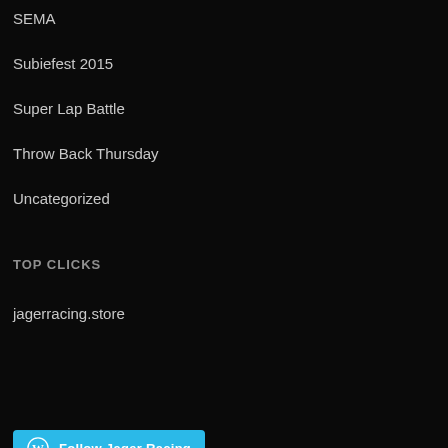SEMA
Subiefest 2015
Super Lap Battle
Throw Back Thursday
Uncategorized
TOP CLICKS
jagerracing.store
[Figure (other): Follow Jager Racing WordPress follow button in cyan/blue]
FOLLOW BLOG VIA EMAIL
Enter your email address to follow this blog and receive